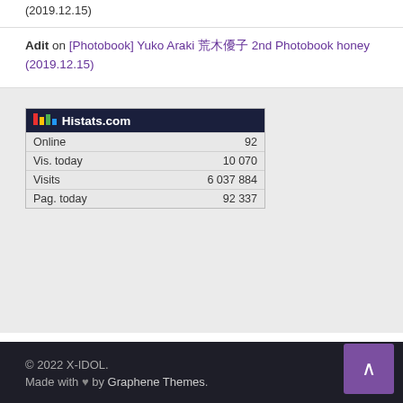(2019.12.15)
Adit on [Photobook] Yuko Araki 荒木優子 2nd Photobook honey (2019.12.15)
[Figure (screenshot): Histats.com widget showing Online: 92, Vis. today: 10 070, Visits: 6 037 884, Pag. today: 92 337]
© 2022 X-IDOL. Made with ♥ by Graphene Themes.